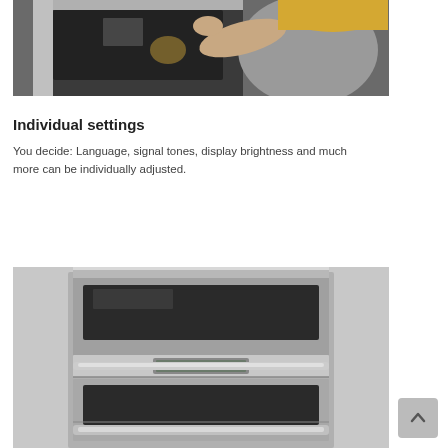[Figure (photo): Woman adjusting or inspecting an oven door, viewed from behind/side]
Individual settings
You decide: Language, signal tones, display brightness and much more can be individually adjusted.
[Figure (photo): Close-up of a stainless steel built-in oven with control panel and handle]